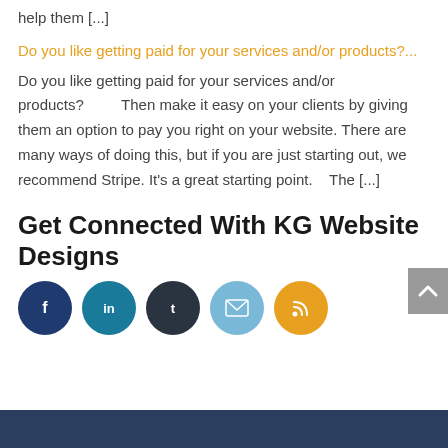help them [...]
Do you like getting paid for your services and/or products?...
Do you like getting paid for your services and/or products?         Then make it easy on your clients by giving them an option to pay you right on your website. There are many ways of doing this, but if you are just starting out, we recommend Stripe. It's a great starting point.    The [...]
Get Connected With KG Website Designs
[Figure (infographic): Row of 5 social media circle icon buttons: Facebook (dark navy), LinkedIn (teal), Tumblr (dark), Email (light blue), RSS (orange)]